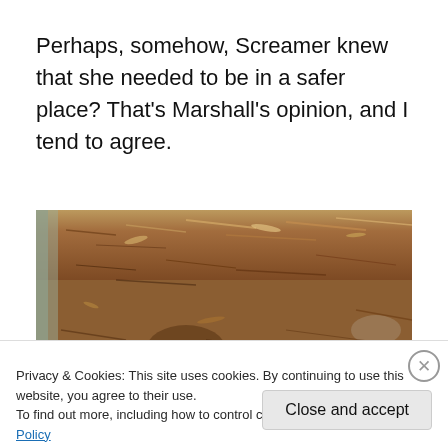Perhaps, somehow, Screamer knew that she needed to be in a safer place? That's Marshall's opinion, and I tend to agree.
[Figure (photo): Close-up photograph of brown mulch or wood chip ground cover in a garden bed, with a wooden border visible on the left.]
Privacy & Cookies: This site uses cookies. By continuing to use this website, you agree to their use.
To find out more, including how to control cookies, see here: Cookie Policy